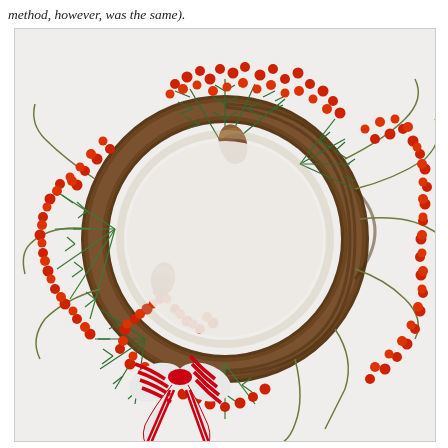method, however, was the same).
[Figure (photo): A Christmas wreath made of a grapevine base decorated with evergreen pine branches, clusters of red/orange berries, pine cones, and a red and white striped ribbon bow at the bottom, photographed against a white background.]